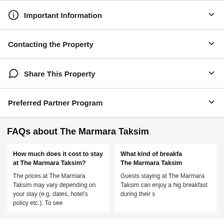Important Information
Contacting the Property
Share This Property
Preferred Partner Program
FAQs about The Marmara Taksim
How much does it cost to stay at The Marmara Taksim?
The prices at The Marmara Taksim may vary depending on your stay (e.g. dates, hotel's policy etc.). To see
What kind of breakfast is offered at The Marmara Taksim?
Guests staying at The Marmara Taksim can enjoy a high breakfast during their s